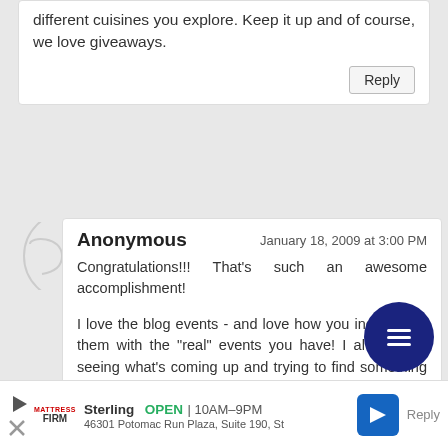different cuisines you explore. Keep it up and of course, we love giveaways.
Reply
Anonymous
January 18, 2009 at 3:00 PM
Congratulations!!! That's such an awesome accomplishment!
I love the blog events - and love how you incorporate them with the "real" events you have! I always like seeing what's coming up and trying to find something to make for it! Thank you for always having such great events ... and always commenting on our blogs!
Reply
Sterling  OPEN | 10AM-9PM  46301 Potomac Run Plaza, Suite 190, St